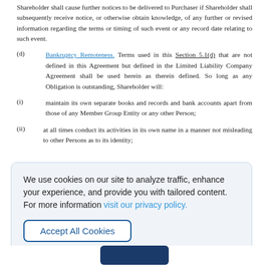Shareholder shall cause further notices to be delivered to Purchaser if Shareholder shall subsequently receive notice, or otherwise obtain knowledge, of any further or revised information regarding the terms or timing of such event or any record date relating to such event.
(d) Bankruptcy Remoteness. Terms used in this Section 5.1(d) that are not defined in this Agreement but defined in the Limited Liability Company Agreement shall be used herein as therein defined. So long as any Obligation is outstanding, Shareholder will:
(i) maintain its own separate books and records and bank accounts apart from those of any Member Group Entity or any other Person;
(ii) at all times conduct its activities in its own name in a manner not misleading to other Persons as to its identity;
We use cookies on our site to analyze traffic, enhance your experience, and provide you with tailored content. For more information visit our privacy policy.